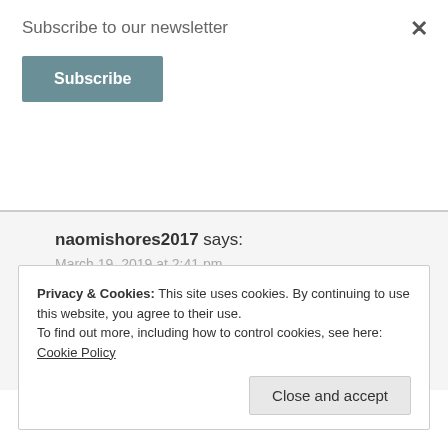Subscribe to our newsletter
Subscribe
×
naomishores2017 says:
March 19, 2019 at 2:41 pm
I don't have a favorite city but I would love to visit New Orleans
★ Like
Reply
Privacy & Cookies: This site uses cookies. By continuing to use this website, you agree to their use.
To find out more, including how to control cookies, see here: Cookie Policy
Close and accept